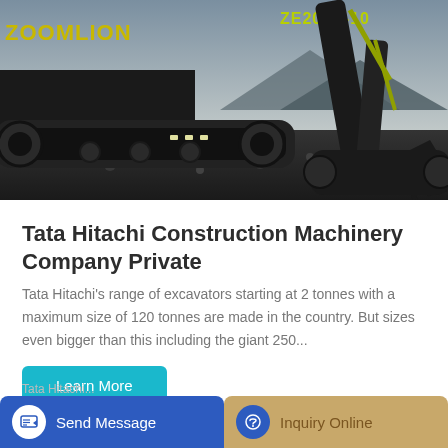[Figure (photo): A Zoomlion ZE205E-10 excavator photographed at low angle on a rocky site, showing black tracks and yellow-green hydraulic arm against a dark background.]
Tata Hitachi Construction Machinery Company Private
Tata Hitachi's range of excavators starting at 2 tonnes with a maximum size of 120 tonnes are made in the country. But sizes even bigger than this including the giant 250...
Learn More
HOT NEWS
Send Message
Inquiry Online